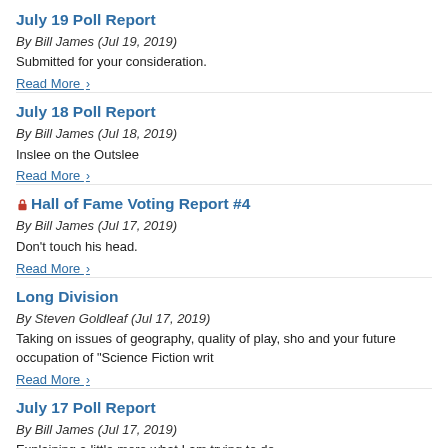July 19 Poll Report
By Bill James (Jul 19, 2019)
Submitted for your consideration.
Read More ›
July 18 Poll Report
By Bill James (Jul 18, 2019)
Inslee on the Outslee
Read More ›
🔒 Hall of Fame Voting Report #4
By Bill James (Jul 17, 2019)
Don't touch his head.
Read More ›
Long Division
By Steven Goldleaf (Jul 17, 2019)
Taking on issues of geography, quality of play, sho and your future occupation of "Science Fiction writ
Read More ›
July 17 Poll Report
By Bill James (Jul 17, 2019)
Explaining a little more what I am trying to do.